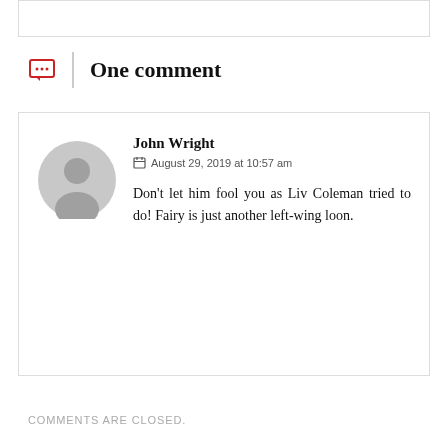One comment
John Wright
August 29, 2019 at 10:57 am
Don't let him fool you as Liv Coleman tried to do! Fairy is just another left-wing loon.
COMMENTS ARE CLOSED.